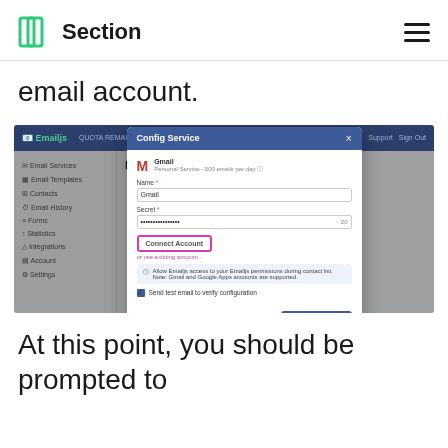Section
email account.
[Figure (screenshot): Screenshot of Emailjs web application showing a Gmail configuration modal dialog with fields for Name and Secret, a 'Connect Account' button highlighted with a pink/magenta border, an info box about OAuth permission, a checkbox to send a test email, and Cancel/Create Service buttons.]
At this point, you should be prompted to